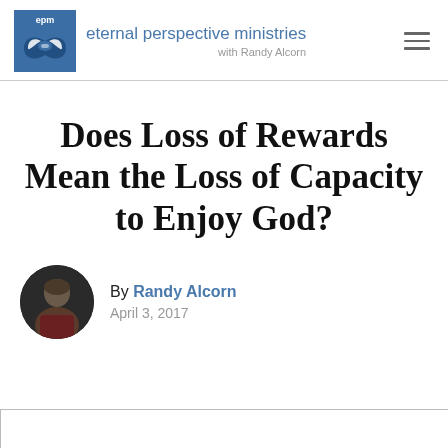eternal perspective ministries with Randy Alcorn
Does Loss of Rewards Mean the Loss of Capacity to Enjoy God?
By Randy Alcorn
April 3, 2017